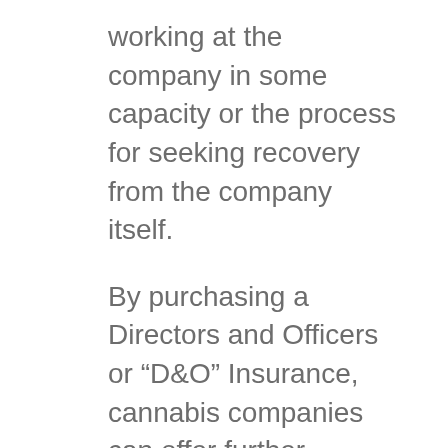working at the company in some capacity or the process for seeking recovery from the company itself.
By purchasing a Directors and Officers or “D&O” Insurance, cannabis companies can offer further reassurance to prospective executives who may be considering a role at the company they’ll be indemnified and protected by insurance.
The insurance protects officers and directors from personal liability involving the failure to meet corporate responsibilities, not acting with the best of intentions, or simply being negligent